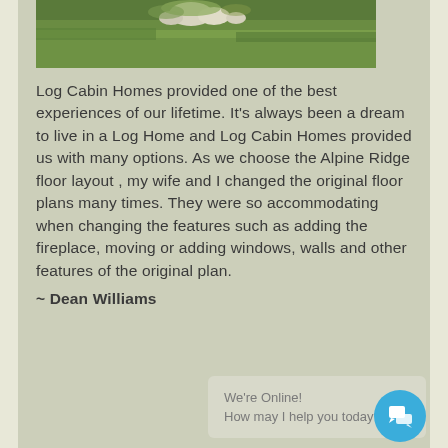[Figure (photo): Outdoor lawn/grass scene with white rocks or boulders near the top, green grass filling most of the frame, partially cropped at top]
Log Cabin Homes provided one of the best experiences of our lifetime. It's always been a dream to live in a Log Home and Log Cabin Homes provided us with many options. As we choose the Alpine Ridge floor layout , my wife and I changed the original floor plans many times. They were so accommodating when changing the features such as adding the fireplace, moving or adding windows, walls and other features of the original plan.
~ Dean Williams
We're Online!
How may I help you today?